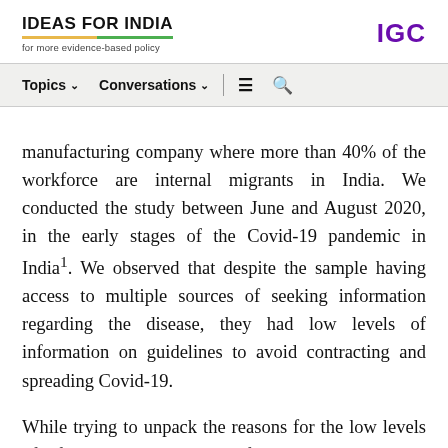IDEAS FOR INDIA — for more evidence-based policy | IGC
Topics ∨   Conversations ∨   ≡   🔍
manufacturing company where more than 40% of the workforce are internal migrants in India. We conducted the study between June and August 2020, in the early stages of the Covid-19 pandemic in India¹. We observed that despite the sample having access to multiple sources of seeking information regarding the disease, they had low levels of information on guidelines to avoid contracting and spreading Covid-19.
While trying to unpack the reasons for the low levels of information, we consider a few